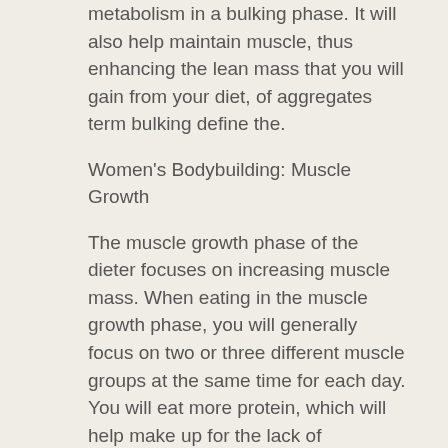metabolism in a bulking phase. It will also help maintain muscle, thus enhancing the lean mass that you will gain from your diet, of aggregates term bulking define the.
Women's Bodybuilding: Muscle Growth
The muscle growth phase of the dieter focuses on increasing muscle mass. When eating in the muscle growth phase, you will generally focus on two or three different muscle groups at the same time for each day. You will eat more protein, which will help make up for the lack of carbohydrates in your diet, bulking agent in folic acid. You'll also use more fat and try to eat more carbs than is normal.
Muscle growth typically takes place on Monday and Wednesday because these are the two most important days of the week for building bulk, intermittent fasting for bulking